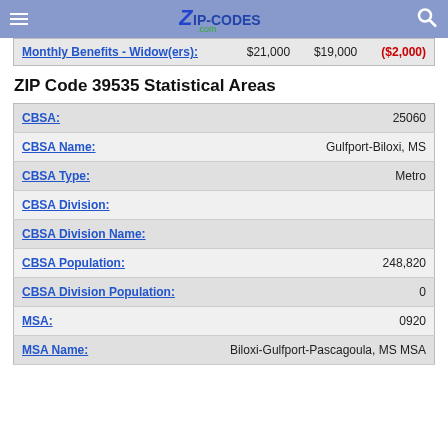ZIP-CODES.com
| Label | Value1 | Value2 | Change |
| --- | --- | --- | --- |
| Monthly Benefits - Widow(ers): | $21,000 | $19,000 | ($2,000) |
ZIP Code 39535 Statistical Areas
| Field | Value |
| --- | --- |
| CBSA: | 25060 |
| CBSA Name: | Gulfport-Biloxi, MS |
| CBSA Type: | Metro |
| CBSA Division: |  |
| CBSA Division Name: |  |
| CBSA Population: | 248,820 |
| CBSA Division Population: | 0 |
| MSA: | 0920 |
| MSA Name: | Biloxi-Gulfport-Pascagoula, MS MSA |